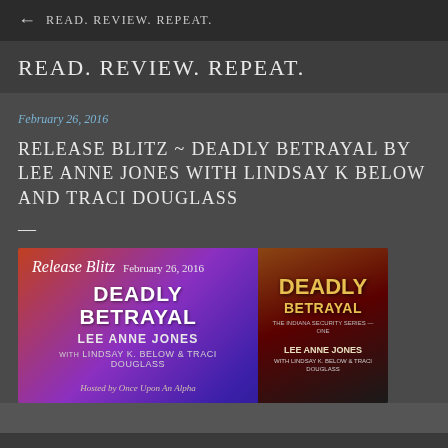← READ. REVIEW. REPEAT.
READ. REVIEW. REPEAT.
February 26, 2016
RELEASE BLITZ ~ DEADLY BETRAYAL BY LEE ANNE JONES WITH LINDSAY K BELOW AND TRACI DOUGLASS
[Figure (other): Release Blitz promotional banner for 'Deadly Betrayal' by Lee Anne Jones with Lindsay K. Below & Traci Douglass, dated February 26, 2016. Banner has gradient background from orange-red to deep purple/blue, with book cover image on right side showing the book title 'Deadly Betrayal' in gold text. Hosted by Once Upon An Alpha.]